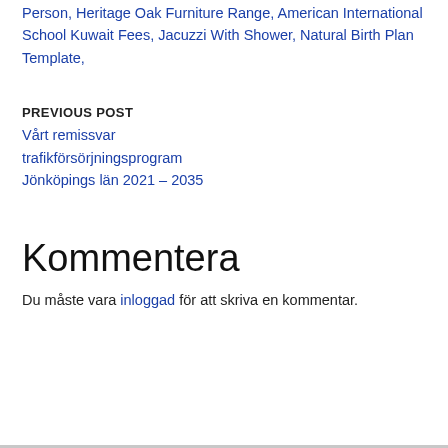Person, Heritage Oak Furniture Range, American International School Kuwait Fees, Jacuzzi With Shower, Natural Birth Plan Template,
PREVIOUS POST
Vårt remissvar trafikförsörjningsprogram Jönköpings län 2021 – 2035
Kommentera
Du måste vara inloggad för att skriva en kommentar.